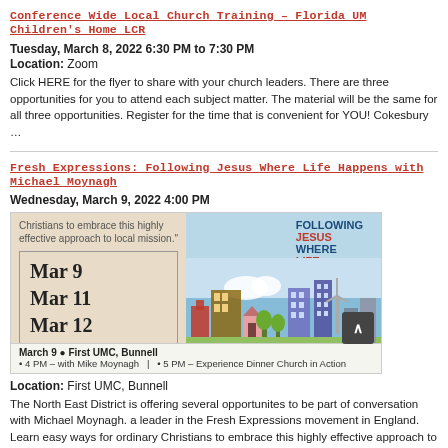Conference Wide Local Church Training – Florida UM Children's Home LCR
Tuesday, March 8, 2022 6:30 PM to 7:30 PM
Location: Zoom
Click HERE for the flyer to share with your church leaders. There are three opportunities for you to attend each subject matter. The material will be the same for all three opportunities. Register for the time that is convenient for YOU! Cokesbury …
Fresh Expressions: Following Jesus Where Life Happens with Michael Moynagh
Wednesday, March 9, 2022 4:00 PM
[Figure (illustration): Event flyer image showing Mar 9, Mar 11, Mar 12 dates on the left with beige background; right side shows 'Following Jesus Where Life Happens' text over a city skyline illustration. Bottom shows March 9 @ First UMC, Bunnell, 4 PM with Mike Moynagh, 5 PM Experience Dinner Church in Action.]
Location: First UMC, Bunnell
The North East District is offering several opportunites to be part of conversation with Michael Moynagh. a leader in the Fresh Expressions movement in England. Learn easy ways for ordinary Christians to embrace this highly effective approach to …